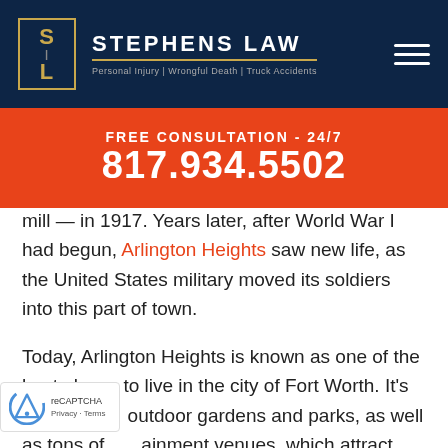[Figure (logo): Stephens Law firm logo with golden SL monogram in bordered box, firm name and tagline, hamburger menu icon on navy background]
FREE CONSULTATION - 24/7
817.934.5502
mill — in 1917. Years later, after World War I had begun, Arlington Heights saw new life, as the United States military moved its soldiers into this part of town.
Today, Arlington Heights is known as one of the best places to live in the city of Fort Worth. It's home to outdoor gardens and parks, as well as tons of entertainment venues, which attract residents and visitors, alike.